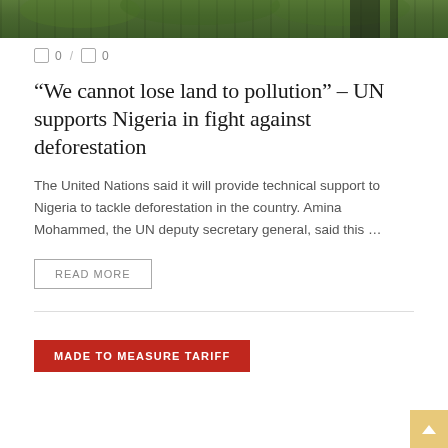[Figure (photo): Top portion of an outdoor photo showing green foliage and trees, partially cropped]
0 / 0
“We cannot lose land to pollution” – UN supports Nigeria in fight against deforestation
The United Nations said it will provide technical support to Nigeria to tackle deforestation in the country. Amina Mohammed, the UN deputy secretary general, said this …
READ MORE
MADE TO MEASURE TARIFF